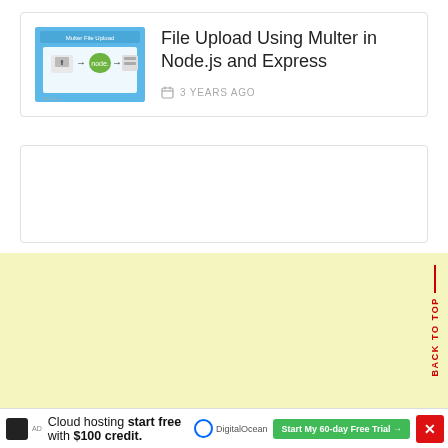[Figure (screenshot): Thumbnail image showing Node.js file upload tutorial graphic with blue background and icons]
File Upload Using Multer in Node.js and Express
3 YEARS AGO
[Figure (other): Empty white card/ad placeholder box]
[Figure (other): Yellow background footer area]
BACK TO TOP
Cloud hosting start free with $100 credit.